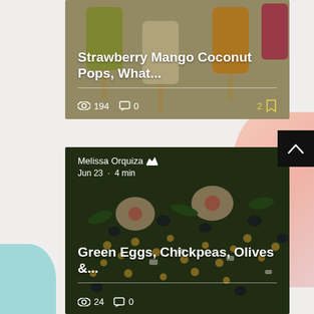[Figure (photo): Food blog card showing popsicles (strawberry mango coconut) on a tray with overlay text and engagement stats]
Strawberry Mango Coconut Pops, What...
194 views · 0 comments · 2 bookmarks
[Figure (photo): Food blog card showing green eggs with chickpeas and olives dish, with author info and engagement stats]
Melissa Orquiza · Jun 23 · 4 min
Green Eggs, Chickpeas, Olives &...
24 views · 0 comments